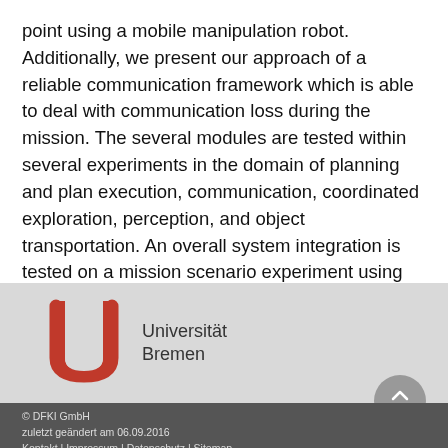point using a mobile manipulation robot. Additionally, we present our approach of a reliable communication framework which is able to deal with communication loss during the mission. The several modules are tested within several experiments in the domain of planning and plan execution, communication, coordinated exploration, perception, and object transportation. An overall system integration is tested on a mission scenario experiment using three robots.
[Figure (logo): Universität Bremen logo — red stylized U-shape with text 'Universität Bremen']
© DFKI GmbH
zuletzt geändert am 06.09.2016
Kontakt | Impressum | Datenschutz | Sitemap